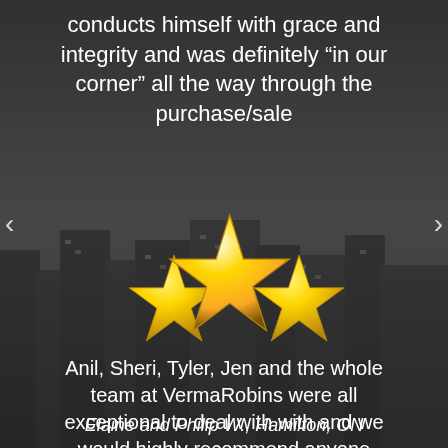conducts himself with grace and integrity and was definitely “in our corner” all the way through the purchase/sale
[Figure (illustration): Three gold/yellow 3D stars representing a 5-star rating]
Anil, Sheri, Tyler, Jen and the whole team at VermaRobins were all exceptional to deal with with and we would highly recommend anyone interested in buying or selling real estate to utilize their services
Elaine and Philip W., Hamilton, ON